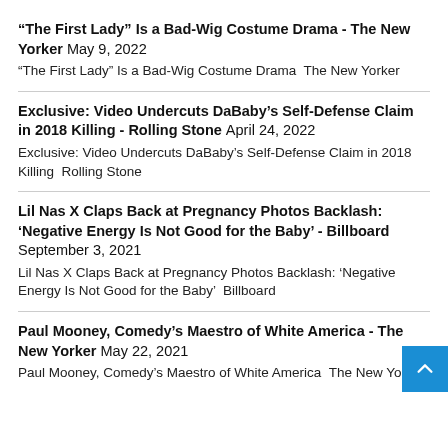“The First Lady” Is a Bad-Wig Costume Drama - The New Yorker May 9, 2022
“The First Lady” Is a Bad-Wig Costume Drama  The New Yorker
Exclusive: Video Undercuts DaBaby’s Self-Defense Claim in 2018 Killing - Rolling Stone April 24, 2022
Exclusive: Video Undercuts DaBaby’s Self-Defense Claim in 2018 Killing  Rolling Stone
Lil Nas X Claps Back at Pregnancy Photos Backlash: ‘Negative Energy Is Not Good for the Baby’ - Billboard September 3, 2021
Lil Nas X Claps Back at Pregnancy Photos Backlash: ‘Negative Energy Is Not Good for the Baby’  Billboard
Paul Mooney, Comedy’s Maestro of White America - The New Yorker May 22, 2021
Paul Mooney, Comedy’s Maestro of White America  The New Yorker